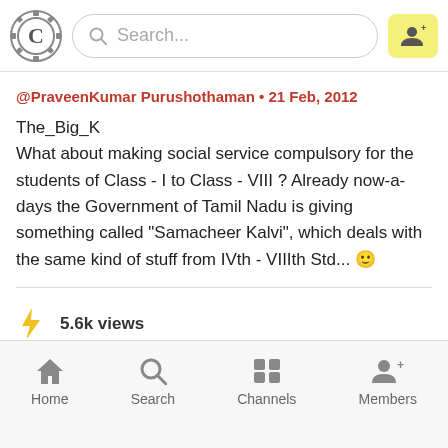Search...
@PraveenKumar Purushothaman • 21 Feb, 2012
The_Big_K
What about making social service compulsory for the students of Class - I to Class - VIII ?
Already now-a-days the Government of Tamil Nadu is giving something called "Samacheer Kalvi", which deals with the same kind of stuff from IVth - VIIIth Std... 😊
5.6k views
Home  Search  Channels  Members